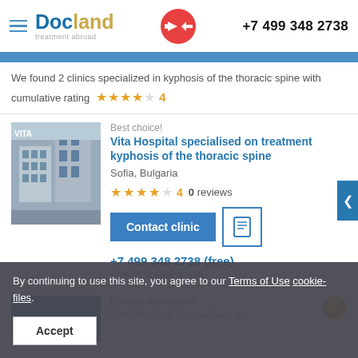Docland treatment abroad | +7 499 348 2738
We found 2 clinics specialized in kyphosis of the thoracic spine with cumulative rating ★★★★☆ 4
Best choice!
Vita Hospital specialised on treatment kyphosis of the thoracic spine
Sofia, Bulgaria
★★★★☆ 4  0 reviews
Contact clinic
+7 499 348 2738 (free)
English speaking staff
Reliable alternative!
By continuing to use this site, you agree to our Terms of Use cookie-files.
Accept